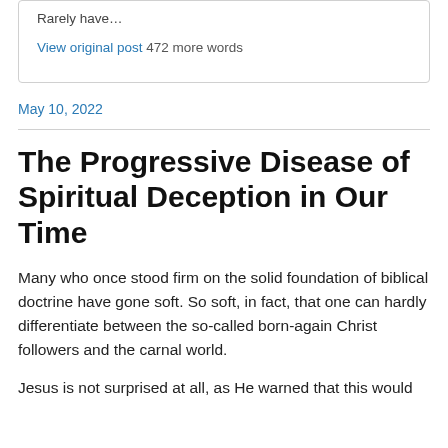Rarely have…
View original post 472 more words
May 10, 2022
The Progressive Disease of Spiritual Deception in Our Time
Many who once stood firm on the solid foundation of biblical doctrine have gone soft. So soft, in fact, that one can hardly differentiate between the so-called born-again Christ followers and the carnal world.
Jesus is not surprised at all, as He warned that this would